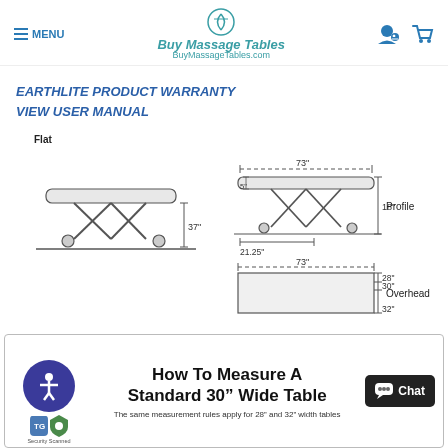MENU | Buy Massage Tables BuyMassageTables.com
EARTHLITE PRODUCT WARRANTY
VIEW USER MANUAL
[Figure (engineering-diagram): Flat view of massage table showing side profile with scissor/X-frame legs and wheels, height 37 inches. Profile view showing 73 inch length, 5 inch thickness, 18 inch height, 21.25 inch base. Overhead view showing 73 inch length and widths of 28, 30, and 32 inches.]
[Figure (infographic): How To Measure A Standard 30 Wide Table. The same measurement rules apply for 28 and 32 width tables.]